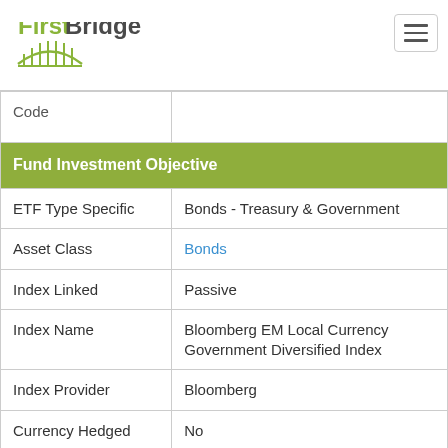[Figure (logo): FirstBridge logo with green arch/bridge graphic and text 'First' in green and 'Bridge' in dark gray]
| Code |  |
| Fund Investment Objective |  |
| ETF Type Specific | Bonds - Treasury & Government |
| Asset Class | Bonds |
| Index Linked | Passive |
| Index Name | Bloomberg EM Local Currency Government Diversified Index |
| Index Provider | Bloomberg |
| Currency Hedged | No |